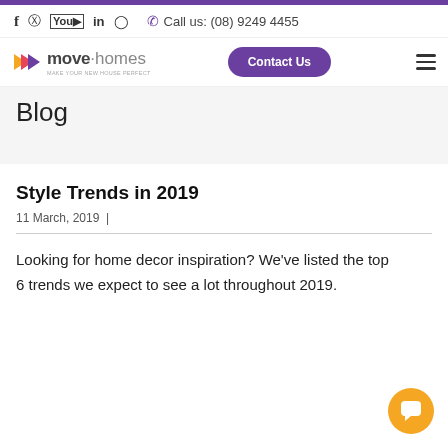f  pinterest  youtube  in  instagram   Call us: (08) 9249 4455
[Figure (logo): Move Homes logo with orange/red/purple arrow chevrons and text 'move·homes']
Contact Us | hamburger menu
Blog
Style Trends in 2019
11 March, 2019  |
Looking for home decor inspiration? We've listed the top 6 trends we expect to see a lot throughout 2019.